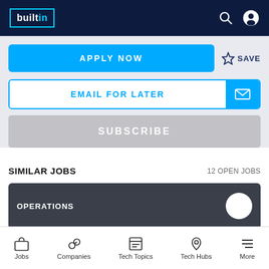builtin
APPLY NOW
SAVE
EMAIL FOR LATER
SUBSCRIBE
SIMILAR JOBS  12 OPEN JOBS
OPERATIONS
Jobs  Companies  Tech Topics  Tech Hubs  More